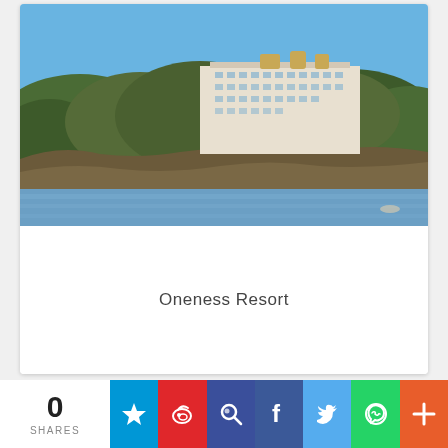[Figure (photo): Outdoor photo of Oneness Resort hotel building on a forested hillside overlooking a bay/water, clear blue sky]
Oneness Resort
[Figure (photo): Partial view of a second hotel/resort card showing a pool area with a 17% OFF badge]
0 SHARES
[Figure (infographic): Social sharing bar with icons: Zomato star, Weibo, Meituan search, Facebook, Twitter, WhatsApp, More (+)]